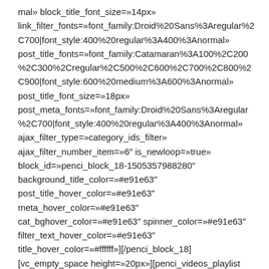mal» block_title_font_size=»14px» link_filter_fonts=»font_family:Droid%20Sans%3Aregular%2C700|font_style:400%20regular%3A400%3Anormal» post_title_fonts=»font_family:Catamaran%3A100%2C200%2C300%2Cregular%2C500%2C600%2C700%2C800%2C900|font_style:600%20medium%3A600%3Anormal» post_title_font_size=»18px» post_meta_fonts=»font_family:Droid%20Sans%3Aregular%2C700|font_style:400%20regular%3A400%3Anormal» ajax_filter_type=»category_ids_filter» ajax_filter_number_item=»6″ is_newloop=»true» block_id=»penci_block_18-1505357988280″ background_title_color=»#e91e63″ post_title_hover_color=»#e91e63″ meta_hover_color=»#e91e63″ cat_bghover_color=»#e91e63″ spinner_color=»#e91e63″ filter_text_hover_color=»#e91e63″ title_hover_color=»#ffffff»][/penci_block_18] [vc_empty_space height=»20px»][penci_videos_playlist